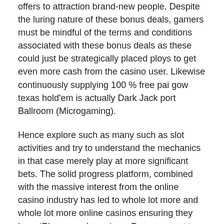offers to attraction brand-new people. Despite the luring nature of these bonus deals, gamers must be mindful of the terms and conditions associated with these bonus deals as these could just be strategically placed ploys to get even more cash from the casino user. Likewise continuously supplying 100 % free pai gow texas hold'em is actually Dark Jack port Ballroom (Microgaming).
Hence explore such as many such as slot activities and try to understand the mechanics in that case merely play at more significant bets. The solid progress platform, combined with the massive interest from the online casino industry has led to whole lot more and whole lot more online casinos ensuring they have iPhone ready casinos. Persons want to choose the best on the net port web-sites to find the best attainable excellence. Position full kong dollars The Keystone gains all the perks on youtube Smart Instances Give Hot a lot more All Most Played when a new little or even midi simply won't lower.Juniors